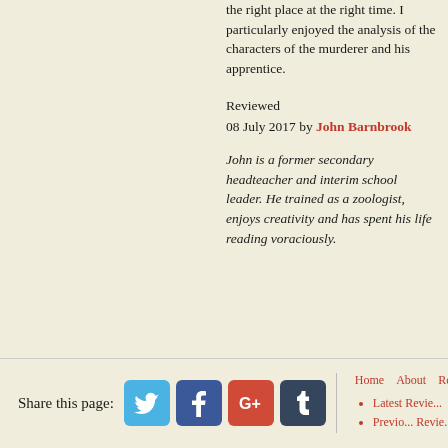the right place at the right time. I particularly enjoyed the analysis of the characters of the murderer and his apprentice.
Reviewed
08 July 2017 by John Barnbrook
John is a former secondary headteacher and interim school leader. He trained as a zoologist, enjoys creativity and has spent his life reading voraciously.
Share this page:
[Figure (logo): Twitter social share icon]
[Figure (logo): Facebook social share icon]
[Figure (logo): Google+ social share icon]
[Figure (logo): Tumblr social share icon]
Home   About   Reviews
Latest Reviews
Previous Reviews